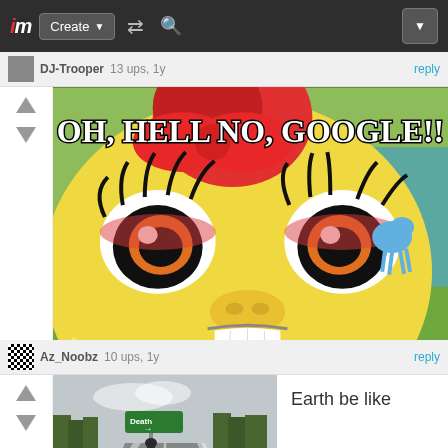im Create ▼ [shuffle] [search] [dropdown]
DJ-Trooper  13 ups, 1y  reply
[Figure (photo): Animated pony character (Apple Bloom from My Little Pony) with angry expression and text 'OH, HELL NO, GOOGLE!!']
Az_Noobz  10 ups, 1y  reply
[Figure (photo): Photo of a road with a green street sign reading 'Death' with an arrow pointing right, a person standing near the sign]
Earth be like